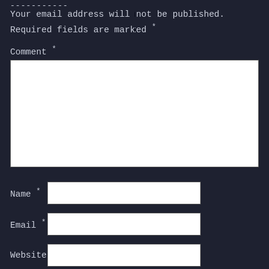Your email address will not be published. Required fields are marked *
Comment *
[Figure (screenshot): Large white comment textarea input field]
Name *
[Figure (screenshot): White text input field for Name]
Email *
[Figure (screenshot): White text input field for Email]
Website
[Figure (screenshot): White text input field for Website]